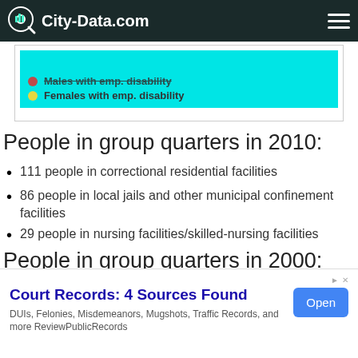City-Data.com
[Figure (other): Partial chart with cyan background showing legend items: Males with emp. disability (red dot) and Females with emp. disability (yellow dot)]
People in group quarters in 2010:
111 people in correctional residential facilities
86 people in local jails and other municipal confinement facilities
29 people in nursing facilities/skilled-nursing facilities
People in group quarters in 2000:
5 people in nursing homes
Court Records: 4 Sources Found — DUIs, Felonies, Misdemeanors, Mugshots, Traffic Records, and more ReviewPublicRecords